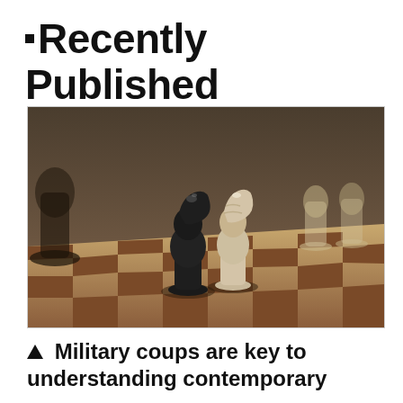Recently Published
[Figure (photo): Two chess pieces — a black knight and a white knight — facing each other on a chessboard, with other white pieces blurred in the background.]
▲ Military coups are key to understanding contemporary